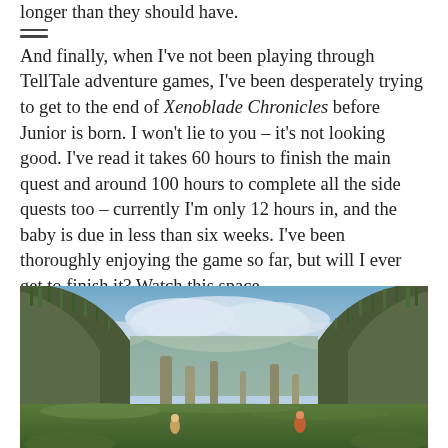longer than they should have.
And finally, when I've not been playing through TellTale adventure games, I've been desperately trying to get to the end of Xenoblade Chronicles before Junior is born. I won't lie to you – it's not looking good. I've read it takes 60 hours to finish the main quest and around 100 hours to complete all the side quests too – currently I'm only 12 hours in, and the baby is due in less than six weeks. I've been thoroughly enjoying the game so far, but will I ever get to finish it? Watch this space...
[Figure (photo): Screenshot from Xenoblade Chronicles showing a fantasy landscape with large rocky arch formations covered in hanging vegetation, a cloudy sky, grassy terrain, and small character figures in the foreground.]